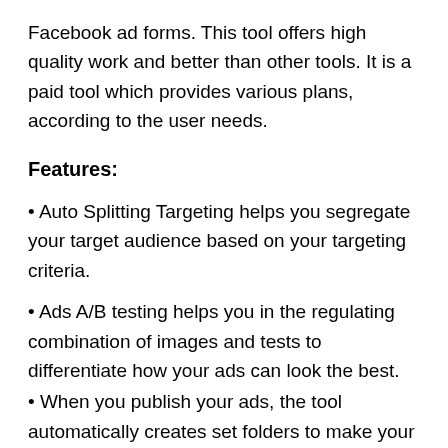Facebook ad forms. This tool offers high quality work and better than other tools. It is a paid tool which provides various plans, according to the user needs.
Features:
Auto Splitting Targeting helps you segregate your target audience based on your targeting criteria.
Ads A/B testing helps you in the regulating combination of images and tests to differentiate how your ads can look the best.
When you publish your ads, the tool automatically creates set folders to make your work organized when you're planning campaigns on a large scale.